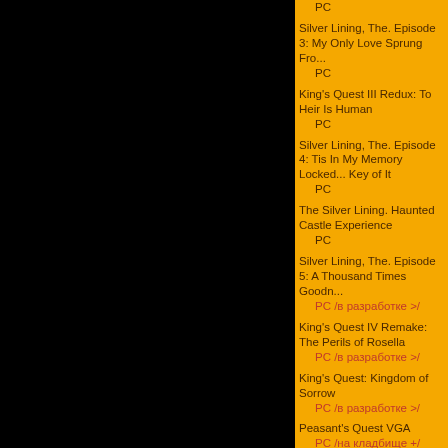PC
Silver Lining, The. Episode 3: My Only Love Sprung Fro...
    PC
King's Quest III Redux: To Heir Is Human
    PC
Silver Lining, The. Episode 4: Tis In My Memory Locked... Key of It
    PC
The Silver Lining. Haunted Castle Experience
    PC
Silver Lining, The. Episode 5: A Thousand Times Goodn...
    PC /в разработке >/
King's Quest IV Remake: The Perils of Rosella
    PC /в разработке >/
King's Quest: Kingdom of Sorrow
    PC /в разработке >/
Peasant's Quest VGA
    PC /на кладбище +/
Новости об игре
07.10.12: Распродажа на GOG.com
05.02.12: Старые квестовые серии со скидкой на GO...
15.04.11: Предзаказы и распродажи
17.12.10: Распродажи
28.08.10: Выпущен набор "King's Quest 1+2+3"